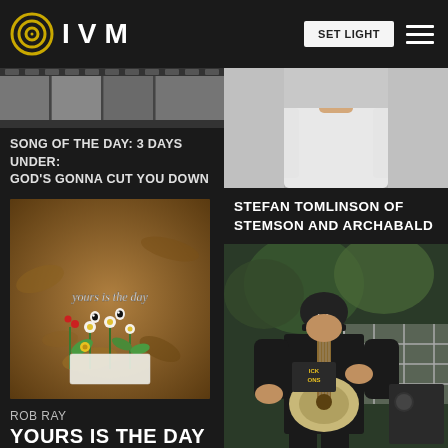IVM
[Figure (screenshot): IVM website header with logo, SET LIGHT button, and hamburger menu on dark background]
[Figure (photo): Filmstrip-style top strip image on left column]
SONG OF THE DAY: 3 DAYS UNDER: GOD'S GONNA CUT YOU DOWN
[Figure (photo): Album art for Rob Ray - Yours Is The Day, featuring miniature figures of plants/flowers on autumn leaves with text 'yours is the day']
ROB RAY
YOURS IS THE DAY
[Figure (photo): Top portion of person in white t-shirt, right column]
STEFAN TOMLINSON OF STEMSON AND ARCHABALD
[Figure (photo): Stefan Tomlinson playing guitar on stage, wearing black cap and black t-shirt, playing a light-colored electric guitar]